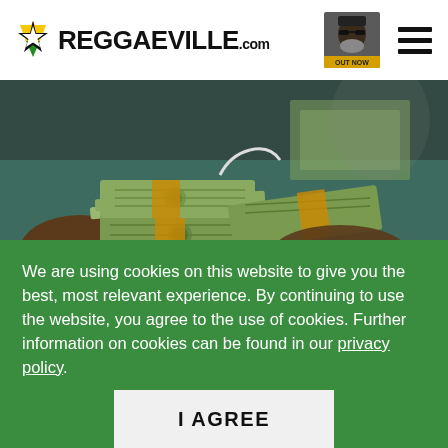[Figure (logo): Reggaeville.com logo with red/yellow/green star flag icon and bold black text]
[Figure (photo): Thumbnail of a man with beard, with 'OUT NOW' badge overlay]
[Figure (photo): Hero image of stacks of US dollar bills held by hands against a teal/dark background]
We are using cookies on this website to give you the best, most relevant experience. By continuing to use the website, you agree to the use of cookies. Further information on cookies can be found in our privacy policy.
I AGREE